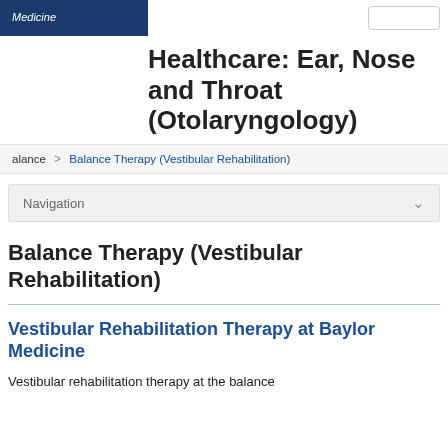Medicine
Healthcare: Ear, Nose and Throat (Otolaryngology)
alance > Balance Therapy (Vestibular Rehabilitation)
Navigation
Balance Therapy (Vestibular Rehabilitation)
Vestibular Rehabilitation Therapy at Baylor Medicine
Vestibular rehabilitation therapy at the balance